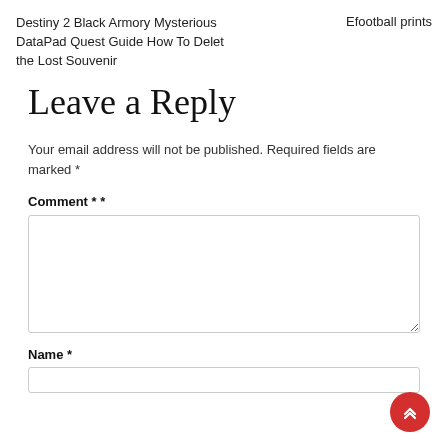Destiny 2 Black Armory Mysterious DataPad Quest Guide How To Delet the Lost Souvenir
Efootball prints
Leave a Reply
Your email address will not be published. Required fields are marked *
Comment * *
Name *